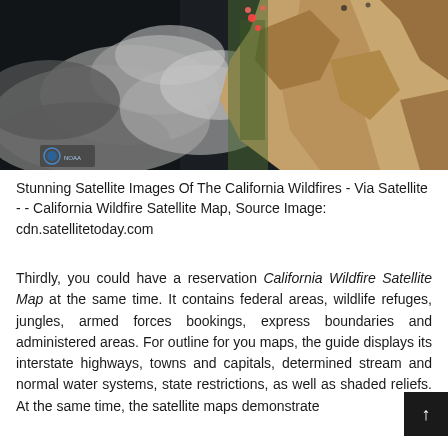[Figure (map): Satellite image of California showing wildfire smoke plumes over the Pacific coast. The image shows dark ocean on the left, gray smoke clouds in the center-left, and the brownish-tan California coastline and terrain on the right. Small red markers indicate fire locations near the northern coast. A NOAA logo is visible in the lower-left corner.]
Stunning Satellite Images Of The California Wildfires - Via Satellite - - California Wildfire Satellite Map, Source Image: cdn.satellitetoday.com
Thirdly, you could have a reservation California Wildfire Satellite Map at the same time. It contains federal areas, wildlife refuges, jungles, armed forces bookings, express boundaries and administered areas. For outline for you maps, the guide displays its interstate highways, towns and capitals, determined stream and normal water systems, state restrictions, as well as shaded reliefs. At the same time, the satellite maps demonstrate